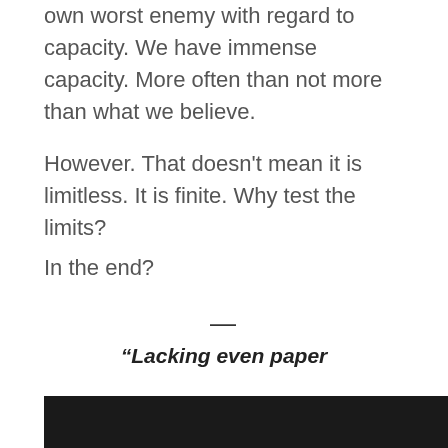own worst enemy with regard to capacity. We have immense capacity. More often than not more than what we believe.
However. That doesn't mean it is limitless. It is finite. Why test the limits?
In the end?
—
“Lacking even paper
I write on my heart